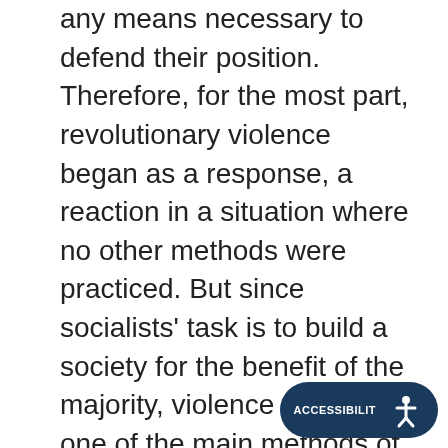any means necessary to defend their position. Therefore, for the most part, revolutionary violence began as a response, a reaction in a situation where no other methods were practiced. But since socialists' task is to build a society for the benefit of the majority, violence can't be one of the main methods of this society: a minority in power, by definition, needs violence always more than the majority that is deprived of it. Therefore, the violent nature of social revolutions is primarily not connected with revolutionaries solving political problems with force, but with the conditions in which they were